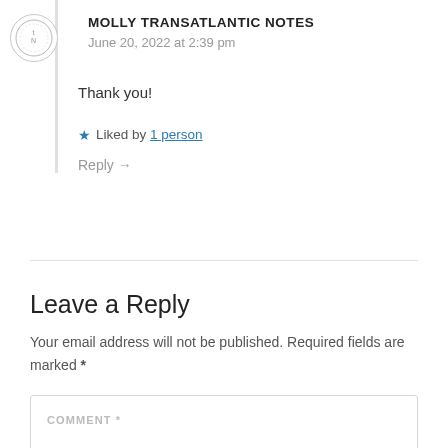MOLLY TRANSATLANTIC NOTES
June 20, 2022 at 2:39 pm
Thank you!
★ Liked by 1 person
Reply →
Leave a Reply
Your email address will not be published. Required fields are marked *
COMMENT *